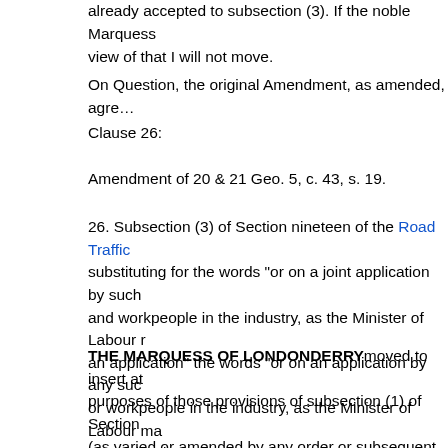already accepted to subsection (3). If the noble Marquess view of that I will not move.
On Question, the original Amendment, as amended, agre…
Clause 26:
Amendment of 20 & 21 Geo. 5, c. 43, s. 19.
26. Subsection (3) of Section nineteen of the Road Traffic substituting for the words "or on a joint application by such and workpeople in the industry, as the Minister of Labour r an application" the words "or on an application by any suc or workpeople in the industry, as the Minister of Labour ma an application."
THE MARQUESS OF LONDONDERRYmoved to insert at purposes of those provisions of subsection (1) of Section  (as varied or amended by any order or subsequent enactr consecutive hours for rest which a driver is to have in any is hound by the terms of his employment to obey the direc the vehicle, or during which the vehicle is at a place where